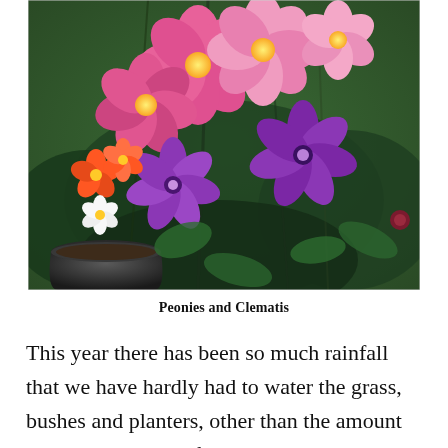[Figure (photo): A close-up photograph of a garden scene featuring pink dahlia-like flowers, purple clematis flowers, orange and red smaller flowers in a dark pot, and green foliage filling the background.]
Peonies and Clematis
This year there has been so much rainfall that we have hardly had to water the grass, bushes and planters, other than the amount that lands on them from the passive process of the